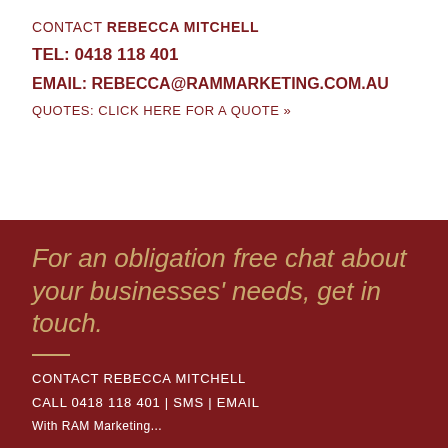CONTACT REBECCA MITCHELL
TEL: 0418 118 401
EMAIL: REBECCA@RAMMARKETING.COM.AU
QUOTES: CLICK HERE FOR A QUOTE »
For an obligation free chat about your businesses' needs, get in touch.
CONTACT REBECCA MITCHELL
CALL 0418 118 401 | SMS | EMAIL
With RAM Marketing...